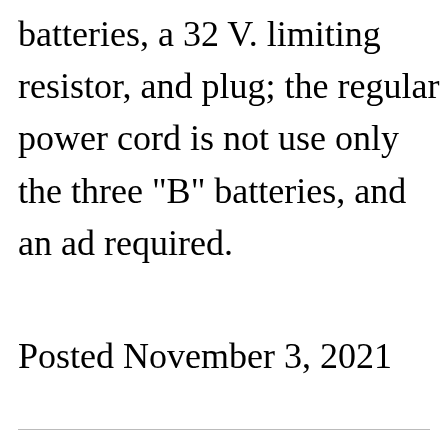batteries, a 32 V. limiting resistor, and plug; the regular power cord is not used, only the three "B" batteries, and an adapter required.
Posted November 3, 2021